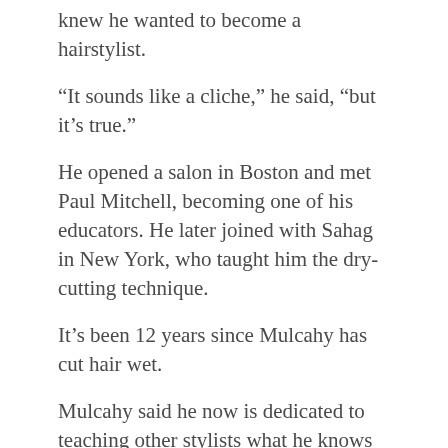knew he wanted to become a hairstylist.
“It sounds like a cliche,” he said, “but it’s true.”
He opened a salon in Boston and met Paul Mitchell, becoming one of his educators. He later joined with Sahag in New York, who taught him the dry-cutting technique.
It’s been 12 years since Mulcahy has cut hair wet.
Mulcahy said he now is dedicated to teaching other stylists what he knows through his new educational training venture with business partner Dwight Miller called V L V T academies.
Originally, Mulcahy wanted to fly under the radar in St. Petersburg, but now he wants his name out.